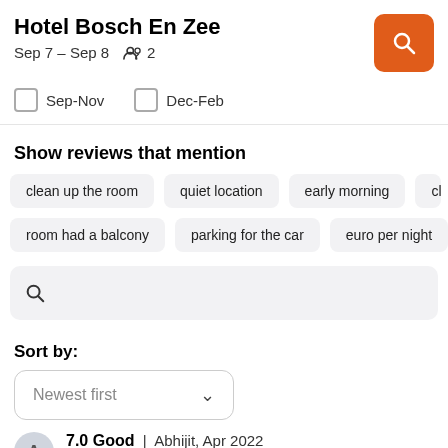Hotel Bosch En Zee
Sep 7 – Sep 8   👥 2
Sep-Nov
Dec-Feb
Show reviews that mention
clean up the room
quiet location
early morning
room had a balcony
parking for the car
euro per night
Sort by:
Newest first
7.0 Good | Abhijit, Apr 2022
Pros: nice breakfast buffet, nice location, rooms are nice but